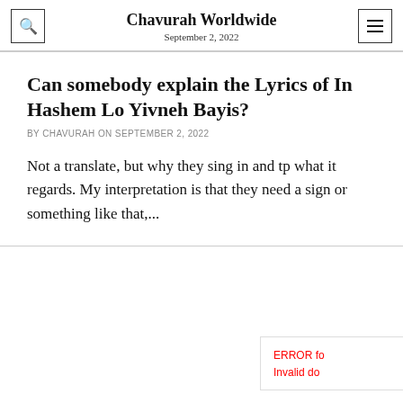Chavurah Worldwide
September 2, 2022
Can somebody explain the Lyrics of In Hashem Lo Yivneh Bayis?
BY CHAVURAH ON SEPTEMBER 2, 2022
Not a translate, but why they sing in and tp what it regards. My interpretation is that they need a sign or something like that,...
ERROR for site owner: Invalid do